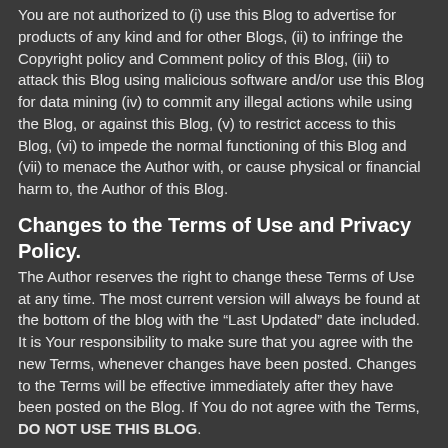You are not authorized to (i) use this Blog to advertise for products of any kind and for other Blogs, (ii) to infringe the Copyright policy and Comment policy of this Blog, (iii) to attack this Blog using malicious software and/or use this Blog for data mining (iv) to commit any illegal actions while using the Blog, or against this Blog, (v) to restrict access to this Blog, (vi) to impede the normal functioning of this Blog and (vii) to menace the Author with, or cause physical or financial harm to, the Author of this Blog.
Changes to the Terms of Use and Privacy Policy.
The Author reserves the right to change these Terms of Use at any time. The most current version will always be found at the bottom of the blog with the “Last Updated” date included. It is Your responsibility to make sure that you agree with the new Terms, whenever changes have been posted. Changes to the Terms will be effective immediately after they have been posted on the Blog. If You do not agree with the Terms, DO NOT USE THIS BLOG.
No Guarantee.
The Author makes no guarantee regarding the validity of the content of the Blog. In addition, the Author does not guarantee that the Blog will be accessible at all times or during any down time (i) caused by outages to any public Internet backbones, networks or servers, (ii) caused by any failures of Your equipment, systems or